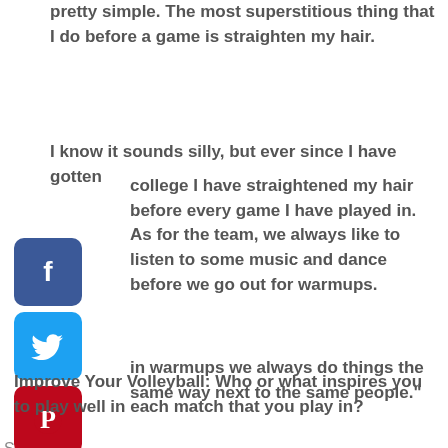pretty simple. The most superstitious thing that I do before a game is straighten my hair.
I know it sounds silly, but ever since I have gotten college I have straightened my hair before y game I have played in. As for the team, we ys like to listen to some music and dance re we go out for warmups.
[Figure (infographic): Share label with social media icons: Facebook (blue), Twitter (light blue), Pinterest (red), Tumblr (dark navy), Reddit (orange), WhatsApp (green)]
in warmups we always do things the same way next to the same people."
Improve Your Volleyball: Who or what inspires you to play well in each match that you play in?